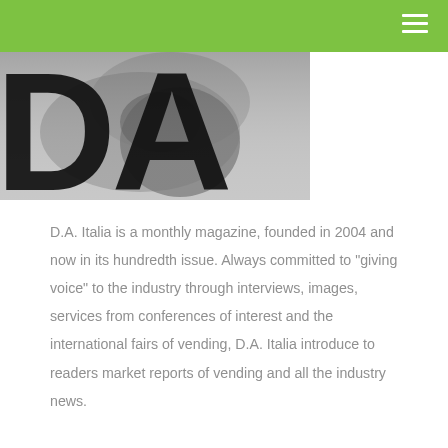[Figure (logo): D.A. Italia magazine logo — large bold black letters 'DA' overlaid on a black and white photograph]
D.A. Italia is a monthly magazine, founded in 2004 and now in its hundredth issue. Always committed to "giving voice" to the industry through interviews, images, services from conferences of interest and the international fairs of vending, D.A. Italia introduce to readers market reports of vending and all the industry news.